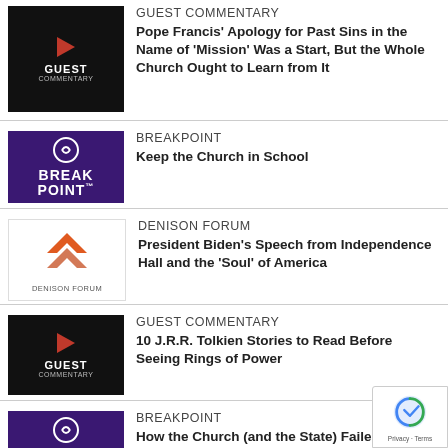GUEST COMMENTARY — Pope Francis' Apology for Past Sins in the Name of 'Mission' Was a Start, But the Whole Church Ought to Learn from It
BREAKPOINT — Keep the Church in School
DENISON FORUM — President Biden's Speech from Independence Hall and the 'Soul' of America
GUEST COMMENTARY — 10 J.R.R. Tolkien Stories to Read Before Seeing Rings of Power
BREAKPOINT — How the Church (and the State) Failed Abigail Martinez
[Figure (logo): Google reCAPTCHA badge with Privacy and Terms links]